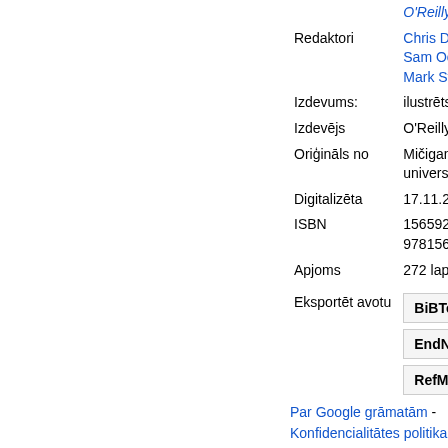|  | O'Reilly Series |
| Redaktori | Chris DiBona, Sam Ockman, Mark Stone |
| Izdevums: | ilustrēts |
| Izdevējs | O'Reilly, 1999 |
| Oriģināls no | Mičiganas universitāte |
| Digitalizēta | 17.11.2007 |
| ISBN | 1565925823, 9781565925823 |
| Apjoms | 272 lappuses |
Eksportēt avotu
BiBTeX
EndNote
RefMan
Par Google grāmatām - Konfidencialitātes politika